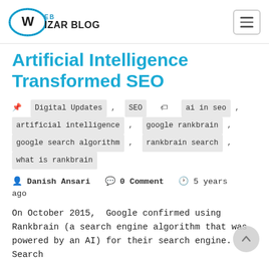Web Wizar Blog
Artificial Intelligence Transformed SEO
📌 Digital Updates , SEO 🏷 ai in seo , artificial intelligence , google rankbrain , google search algorithm , rankbrain search , what is rankbrain
Danish Ansari  0 Comment  5 years ago
On October 2015, Google confirmed using Rankbrain (a search engine algorithm that was powered by an AI) for their search engine. Search